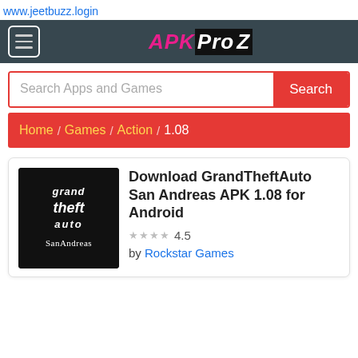www.jeetbuzz.login
[Figure (logo): APKProZ website navigation bar with hamburger menu and brand logo]
Search Apps and Games — Search button
Home / Games / Action / 1.08
[Figure (logo): Grand Theft Auto San Andreas app icon — black background with GTA SA logo text]
Download GrandTheftAuto San Andreas APK 1.08 for Android
★★★★ 4.5
by Rockstar Games